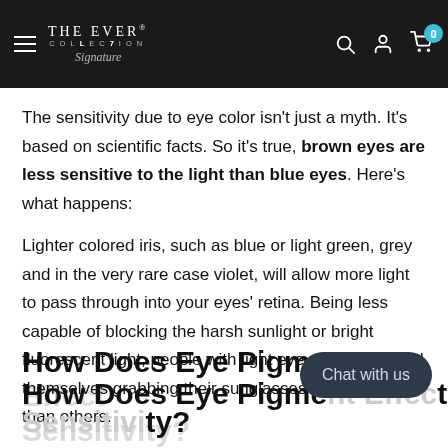THE EVER COLLECTION Signature
The sensitivity due to eye color isn't just a myth. It's based on scientific facts. So it's true, brown eyes are less sensitive to the light than blue eyes. Here's what happens:
Lighter colored iris, such as blue or light green, grey and in the very rare case violet, will allow more light to pass through into your eyes' retina. Being less capable of blocking the harsh sunlight or bright fluorescent light, people with light eye colors may find themselves grabbing their sunglasses more often than others.
How Does Eye Pigment Effect Sensitivity?